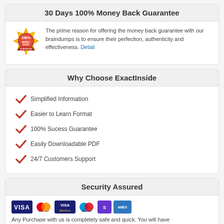30 Days 100% Money Back Guarantee
The prime reason for offering the money back guarantee with our braindumps is to ensure their perfection, authenticity and effectiveness. Detail
Why Choose ExactInside
Simplified Information
Easier to Learn Format
100% Sucess Guarantee
Easily Downloadable PDF
24/7 Customers Support
Security Assured
[Figure (logo): Payment method logos: VISA, MasterCard, VISA Electron, Maestro, Solo, American Express]
Any Purchase with us is completely safe and quick. You will have